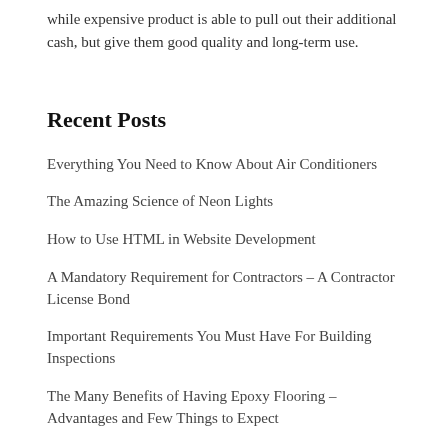while expensive product is able to pull out their additional cash, but give them good quality and long-term use.
Recent Posts
Everything You Need to Know About Air Conditioners
The Amazing Science of Neon Lights
How to Use HTML in Website Development
A Mandatory Requirement for Contractors – A Contractor License Bond
Important Requirements You Must Have For Building Inspections
The Many Benefits of Having Epoxy Flooring – Advantages and Few Things to Expect
How an Attorney Can Help with Your Car Accident